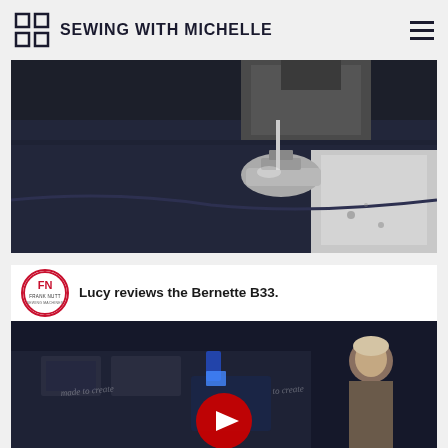SEWING WITH MICHELLE
[Figure (photo): Close-up photo of a sewing machine presser foot on dark navy blue fabric, with white fabric visible in the background]
[Figure (screenshot): YouTube video thumbnail showing 'Lucy reviews the Bernette B33.' with Frank Nutt Sewing Machines logo, 'made to create' watermarks, a person sewing, and a YouTube play button overlay]